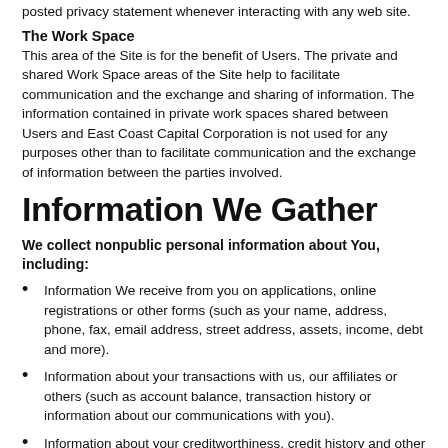posted privacy statement whenever interacting with any web site.
The Work Space
This area of the Site is for the benefit of Users. The private and shared Work Space areas of the Site help to facilitate communication and the exchange and sharing of information. The information contained in private work spaces shared between Users and East Coast Capital Corporation is not used for any purposes other than to facilitate communication and the exchange of information between the parties involved.
Information We Gather
We collect nonpublic personal information about You, including:
Information We receive from you on applications, online registrations or other forms (such as your name, address, phone, fax, email address, street address, assets, income, debt and more).
Information about your transactions with us, our affiliates or others (such as account balance, transaction history or information about our communications with you).
Information about your creditworthiness, credit history and other facts about you that We obtain from consumer reporting agencies or from providers of marketing and